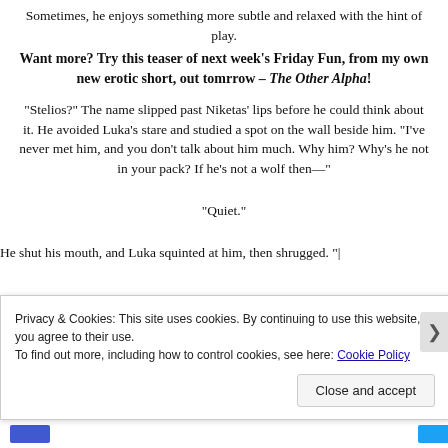Sometimes, he enjoys something more subtle and relaxed with the hint of play.
Want more? Try this teaser of next week’s Friday Fun, from my own new erotic short, out tomrrow – The Other Alpha!
“Stelios?” The name slipped past Niketas’ lips before he could think about it. He avoided Luka’s stare and studied a spot on the wall beside him. “I’ve never met him, and you don’t talk about him much. Why him? Why’s he not in your pack? If he’s not a wolf then—”
“Quiet.”
He shut his mouth, and Luka squinted at him, then shrugged. “|
Privacy & Cookies: This site uses cookies. By continuing to use this website, you agree to their use.
To find out more, including how to control cookies, see here: Cookie Policy
Close and accept